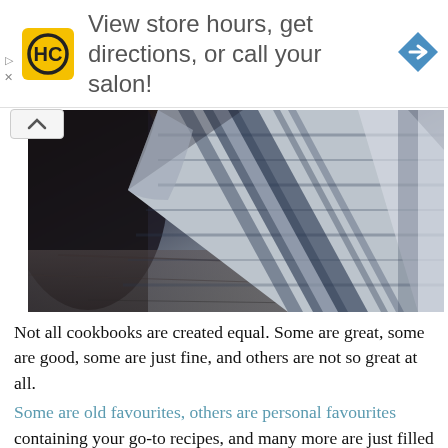[Figure (infographic): Haircut/salon brand advertisement banner with yellow HC logo, text 'View store hours, get directions, or call your salon!' and a blue diamond navigation arrow icon]
[Figure (photo): Close-up photograph of a dark blue and white patterned cloth/kitchen towel draped over what appears to be a dark cooking pot on a wooden surface, with a warm light source visible in the upper background]
Not all cookbooks are created equal. Some are great, some are good, some are just fine, and others are not so great at all.
Some are old favourites, others are personal favourites containing your go-to recipes, and many more are just filled with recipes that put food on the table.